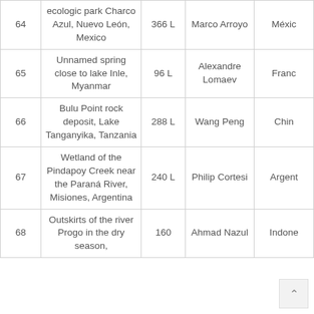| # | Location | Volume | Photographer | Country |
| --- | --- | --- | --- | --- |
| 64 | ecologic park Charco Azul, Nuevo León, Mexico | 366 L | Marco Arroyo | México |
| 65 | Unnamed spring close to lake Inle, Myanmar | 96 L | Alexandre Lomaev | Franc |
| 66 | Bulu Point rock deposit, Lake Tanganyika, Tanzania | 288 L | Wang Peng | Chin |
| 67 | Wetland of the Pindapoy Creek near the Paraná River, Misiones, Argentina | 240 L | Philip Cortesi | Argent |
| 68 | Outskirts of the river Progo in the dry season, | 160 L | Ahmad Nazul | Indone |